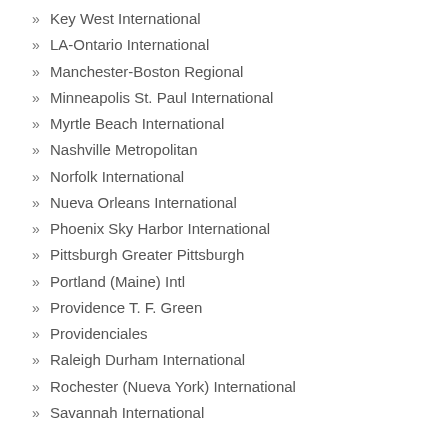» Key West International
» LA-Ontario International
» Manchester-Boston Regional
» Minneapolis St. Paul International
» Myrtle Beach International
» Nashville Metropolitan
» Norfolk International
» Nueva Orleans International
» Phoenix Sky Harbor International
» Pittsburgh Greater Pittsburgh
» Portland (Maine) Intl
» Providence T. F. Green
» Providenciales
» Raleigh Durham International
» Rochester (Nueva York) International
» Savannah International